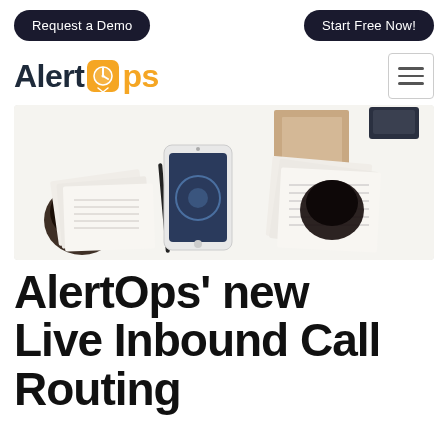Request a Demo | Start Free Now!
[Figure (logo): AlertOps logo with orange clock icon and hamburger menu button]
[Figure (photo): Overhead desk photo showing smartphone, coffee cups, papers, and documents on white surface]
AlertOps' new Live Inbound Call Routing